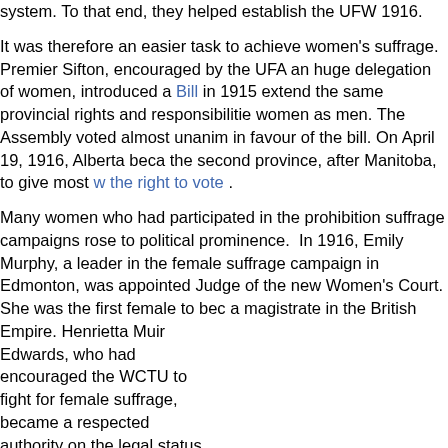system. To that end, they helped establish the UFW... 1916.
It was therefore an easier task to achieve women's suffrage. Premier Sifton, encouraged by the UFA and a huge delegation of women, introduced a Bill in 1915 to extend the same provincial rights and responsibilities to women as men. The Assembly voted almost unanimously in favour of the bill. On April 19, 1916, Alberta became the second province, after Manitoba, to give most women the right to vote .
Many women who had participated in the prohibition suffrage campaigns rose to political prominence. In 1916, Emily Murphy, a leader in the female suffrage campaign in Edmonton, was appointed Judge of the new Women's Court. She was the first female to become a magistrate in the British Empire. Henrietta Muir Edwards, who had encouraged the WCTU to fight for female suffrage, became a respected authority on the legal status of women. Louise McKinney, president of the Alberta WCTU, represented the Non-Partisan League in Claresholm in the 1917 provincial election. She became the first of two women to be elected to the Alberta Legislature. In the next election in 1921, feminist wri...